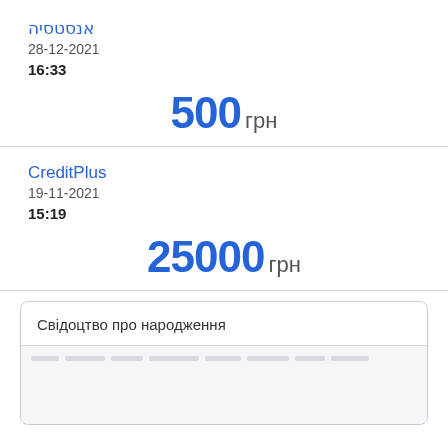אנסטסיה
28-12-2021
16:33
500 грн
CreditPlus
19-11-2021
15:19
25000 грн
Свідоцтво про народження